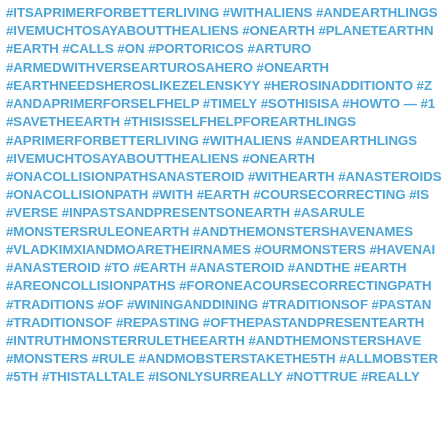#ITSAPRIMERFORBETTERLIVING #WITHALIENS #ANDEARTHLINGS #IVEMUCHTOSAYABOUTTHEALIENS #ONEARTH #PLANETEARTHN #EARTH #CALLS #ON #PORTORICOS #ARTURO #ARMEDWITHVERSEARTUROSAHERO #ONEARTH #EARTHNEEDSHEROSLIKEZELENSKYY #HEROSINADDITIONTO #Z #ANDAPRIMERFORSELFHELP #TIMELY #SOTHISISA #HOWTO — #1 #SAVETHEEARTH #THISISSELFHELPFOREARTHLINGS #APRIMERFORBETTERLIVING #WITHALIENS #ANDEARTHLINGS #IVEMUCHTOSAYABOUTTHEALIENS #ONEARTH #ONACOLLISIONPATHSANASTEROID #WITHEARTH #ANASTEROIDS #ONACOLLISIONPATH #WITH #EARTH #COURSECORRECTING #IS #VERSE #INPASTSANDPRESENTSONEARTH #ASARULE #MONSTERSRULEONEARTH #ANDTHEMONSTERSHAVENAMES #VLADKIMXIANDMOARETHEIRNAMES #OURMONSTERS #HAVENAI #ANASTEROID #TO #EARTH #ANASTEROID #ANDTHE #EARTH #AREONCOLLISIONPATHS #FORONEACOURSECORRECTINGPATH #TRADITIONS #OF #WININGANDDINING #TRADITIONSOF #PASTAN #TRADITIONSOF #REPASTING #OFTHEPASTANDPRESENTEARTH #INTRUTHMONSTERULETHEEARTH #ANDTHEMONSTERSHAVE #MONSTERS #RULE #ANDMOBSTERSTAKETHE5TH #ALLMOBSTER #5TH #THISTALLTALE #ISONLYSURREALLY #NOTTRUE #REALLY